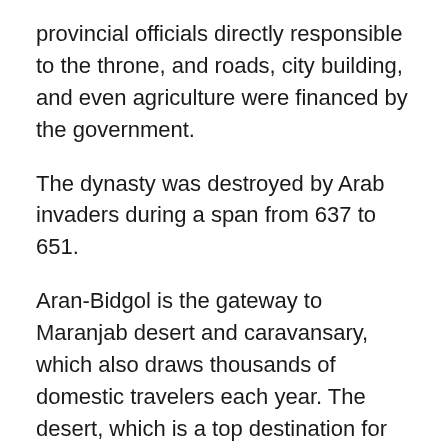provincial officials directly responsible to the throne, and roads, city building, and even agriculture were financed by the government.
The dynasty was destroyed by Arab invaders during a span from 637 to 651.
Aran-Bidgol is the gateway to Maranjab desert and caravansary, which also draws thousands of domestic travelers each year. The desert, which is a top destination for off-roaders, lead to salt lake from the north, Band-e Rig and Desert National Park from the east, Masileh Desert, Hoz-e sultan and Moreh Lakes from the west and eventually Aran and Bidgol from the south.
Situated in Isfahan province, the town is surrounded by desert from the north and east, and thus it has a typical